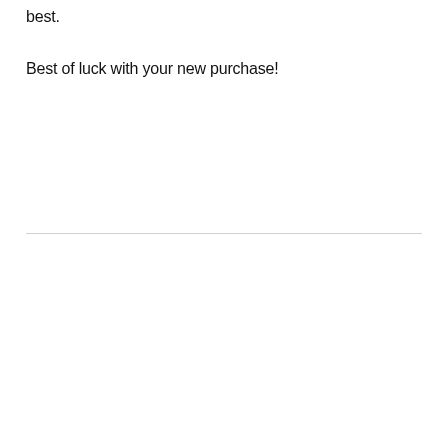best.
Best of luck with your new purchase!
PREV POST | Our 10 Best Mens Casual Shoes For High Arches Recommended By An Expert || NEXT POST | Top 10 Best Mens Dress Shoe Companies Picks For 2022